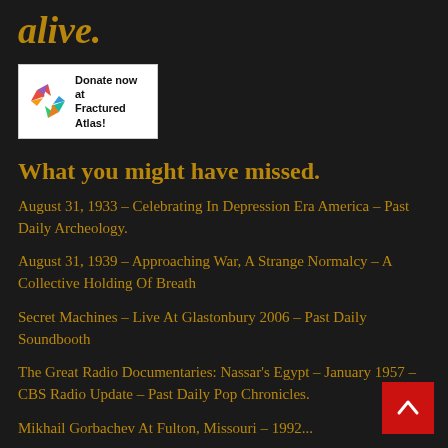alive.
[Figure (logo): Donate now at Fractured Atlas! logo with colorful pinwheel/star graphic on white background]
What you might have missed.
August 31, 1933 – Celebrating In Depression Era America – Past Daily Archeology.
August 31, 1939 – Approaching War, A Strange Normalcy – A Collective Holding Of Breath
Secret Machines – Live At Glastonbury 2006 – Past Daily Soundbooth
The Great Radio Documentaries: Nassar's Egypt – January 1957 – CBS Radio Update – Past Daily Pop Chronicles.
Mikhail Gorbachev At Fulton, Missouri – 1992...